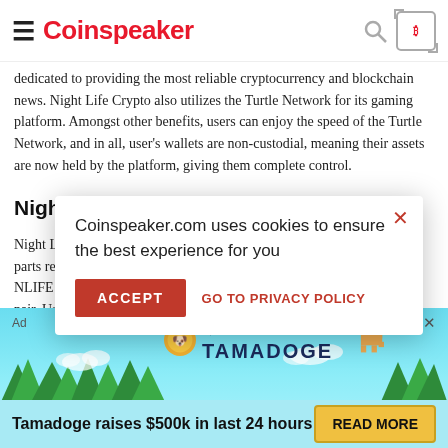Coinspeaker
dedicated to providing the most reliable cryptocurrency and blockchain news. Night Life Crypto also utilizes the Turtle Network for its gaming platform. Amongst other benefits, users can enjoy the speed of the Turtle Network, and in all, user's wallets are non-custodial, meaning their assets are now held by the platform, giving them complete control.
Night Life Crypto in Action
Night Life Crypto has two parts respectively. Users can buy NLIFE on PancakeSwap pair. Users who choose the fee paid from using the liquidity pro development services.
[Figure (screenshot): Cookie consent modal overlay: 'Coinspeaker.com uses cookies to ensure the best experience for you' with ACCEPT button and GO TO PRIVACY POLICY link]
[Figure (infographic): Tamadoge advertisement banner with cartoon character dog, trees, and 'Tamadoge raises $500k in last 24 hours' text with READ MORE button]